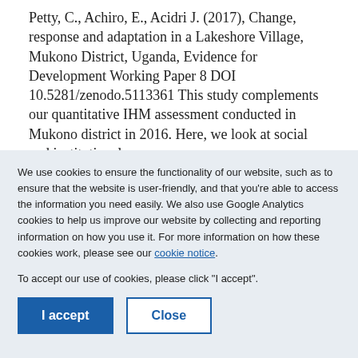Petty, C., Achiro, E., Acidri J. (2017), Change, response and adaptation in a Lakeshore Village, Mukono District, Uganda, Evidence for Development Working Paper 8  DOI 10.5281/zenodo.5113361  This study complements our quantitative IHM assessment conducted in Mukono district in 2016. Here, we look at social and institutional
We use cookies to ensure the functionality of our website, such as to ensure that the website is user-friendly, and that you're able to access the information you need easily. We also use Google Analytics cookies to help us improve our website by collecting and reporting information on how you use it. For more information on how these cookies work, please see our cookie notice.
To accept our use of cookies, please click "I accept".
I accept
Close